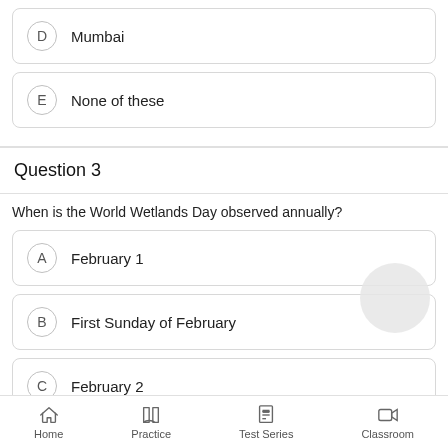D  Mumbai
E  None of these
Question 3
When is the World Wetlands Day observed annually?
A  February 1
B  First Sunday of February
C  February 2
Home  Practice  Test Series  Classroom